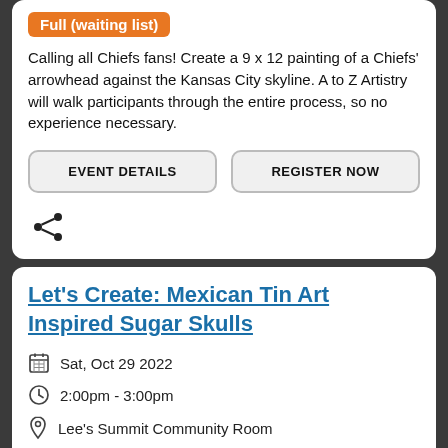Full (waiting list)
Calling all Chiefs fans! Create a 9 x 12 painting of a Chiefs' arrowhead against the Kansas City skyline. A to Z Artistry will walk participants through the entire process, so no experience necessary.
EVENT DETAILS
REGISTER NOW
[Figure (other): Share icon (less-than symbol with two dots)]
Let's Create: Mexican Tin Art Inspired Sugar Skulls
Sat, Oct 29 2022
2:00pm - 3:00pm
Lee's Summit Community Room